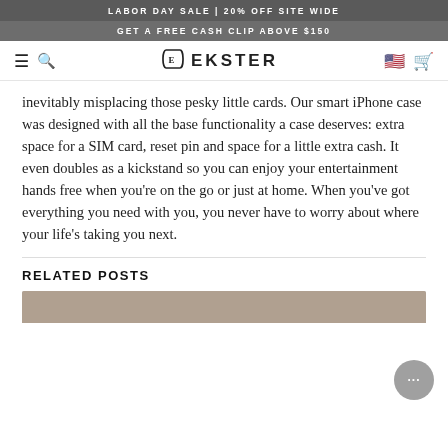LABOR DAY SALE | 20% OFF SITE WIDE
GET A FREE CASH CLIP ABOVE $150
EKSTER
inevitably misplacing those pesky little cards. Our smart iPhone case was designed with all the base functionality a case deserves: extra space for a SIM card, reset pin and space for a little extra cash. It even doubles as a kickstand so you can enjoy your entertainment hands free when you’re on the go or just at home. When you’ve got everything you need with you, you never have to worry about where your life's taking you next.
RELATED POSTS
[Figure (photo): Partial view of a related post image strip at the bottom of the page]